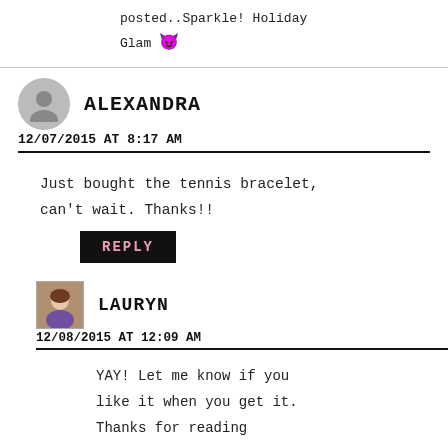posted..Sparkle! Holiday Glam 😈
ALEXANDRA
12/07/2015 AT 8:17 AM
Just bought the tennis bracelet, can't wait. Thanks!!
REPLY
LAURYN
12/08/2015 AT 12:09 AM
YAY! Let me know if you like it when you get it. Thanks for reading